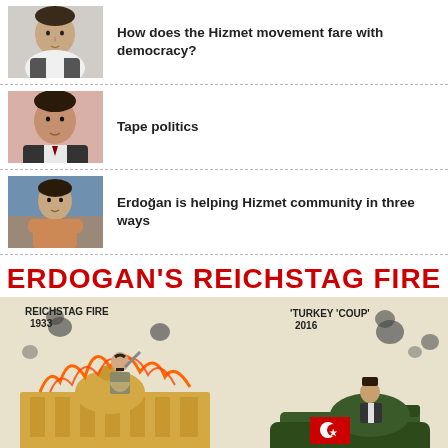How does the Hizmet movement fare with democracy?
Tape politics
Erdoğan is helping Hizmet community in three ways
ERDOGAN'S REICHSTAG FIRE
[Figure (illustration): Political cartoon comparing Reichstag Fire 1933 with Turkey 'Coup' 2016. Left side shows Hitler figure on burning Reichstag building labeled 'REICHSTAG FIRE 1933'. Right side shows Erdogan figure on a green tank labeled 'TURKEY COUP 2016'. Cartoon credited to thewashingtontimes.com.]
Turkey Coup Attempt, July 2016